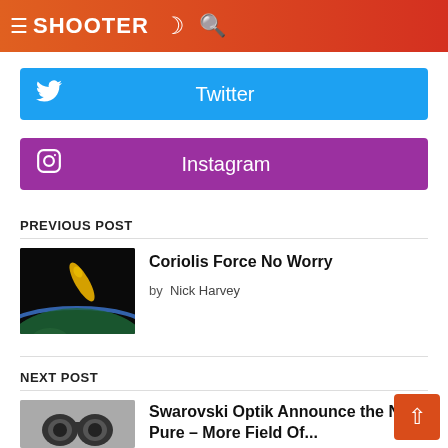≡ SHOOTER ☾ 🔍
[Figure (screenshot): Twitter follow button — cyan background with Twitter bird icon and 'Twitter' label]
[Figure (screenshot): Instagram follow button — purple background with Instagram icon and 'Instagram' label]
PREVIOUS POST
[Figure (photo): Bullet/projectile image over Earth from space — black background with yellow bullet shape and Earth below]
Coriolis Force No Worry
by Nick Harvey
NEXT POST
[Figure (photo): Binocular/optics product photo — partial image cut off]
Swarovski Optik Announce the N Pure – More Field Of...